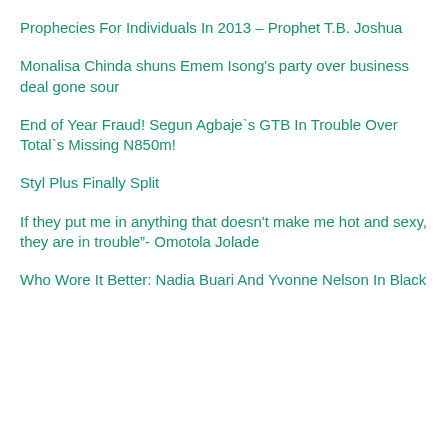Prophecies For Individuals In 2013 – Prophet T.B. Joshua
Monalisa Chinda shuns Emem Isong's party over business deal gone sour
End of Year Fraud! Segun Agbaje`s GTB In Trouble Over Total`s Missing N850m!
Styl Plus Finally Split
If they put me in anything that doesn't make me hot and sexy, they are in trouble”- Omotola Jolade
Who Wore It Better: Nadia Buari And Yvonne Nelson In Black